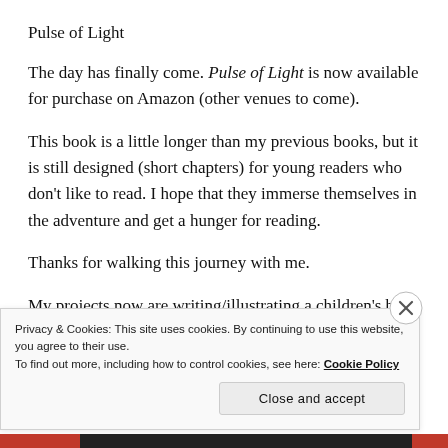Pulse of Light
The day has finally come. Pulse of Light is now available for purchase on Amazon (other venues to come).
This book is a little longer than my previous books, but it is still designed (short chapters) for young readers who don't like to read. I hope that they immerse themselves in the adventure and get a hunger for reading.
Thanks for walking this journey with me.
My projects now are writing/illustrating a children's book and rewriting Night into Day
Privacy & Cookies: This site uses cookies. By continuing to use this website, you agree to their use.
To find out more, including how to control cookies, see here: Cookie Policy
Close and accept